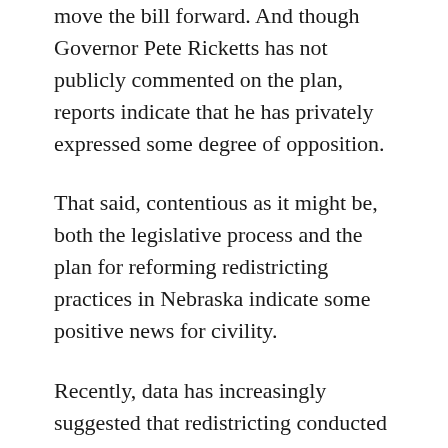move the bill forward. And though Governor Pete Ricketts has not publicly commented on the plan, reports indicate that he has privately expressed some degree of opposition.
That said, contentious as it might be, both the legislative process and the plan for reforming redistricting practices in Nebraska indicate some positive news for civility.
Recently, data has increasingly suggested that redistricting conducted through independent commissions has not, as we might suppose, significantly increased competitiveness for congressional seats. But in the six states where independent commissions have been instituted,